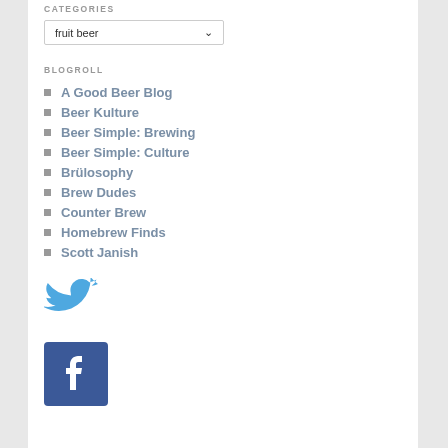CATEGORIES
fruit beer
BLOGROLL
A Good Beer Blog
Beer Kulture
Beer Simple: Brewing
Beer Simple: Culture
Brülosophy
Brew Dudes
Counter Brew
Homebrew Finds
Scott Janish
[Figure (logo): Twitter bird logo in blue]
[Figure (logo): Facebook logo, white f on blue square background]